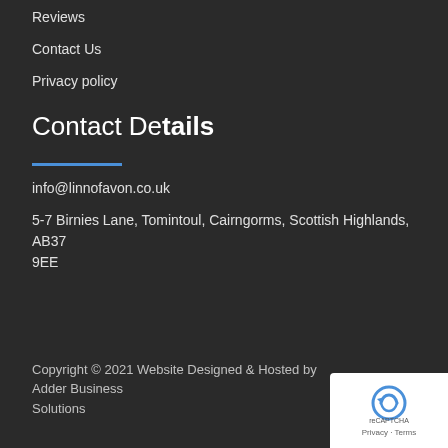Reviews
Contact Us
Privacy policy
Contact Details
info@linnofavon.co.uk
5-7 Birnies Lane, Tomintoul, Cairngorms, Scottish Highlands, AB37 9EE
Copyright © 2021 Website Designed & Hosted by Adder Business Solutions